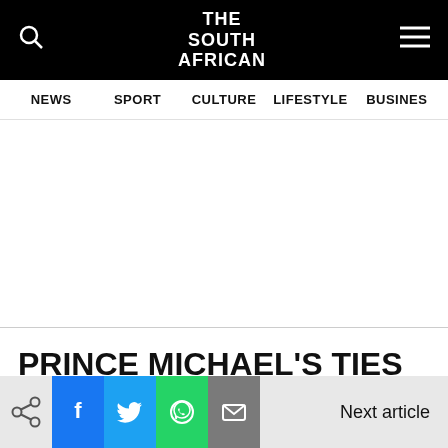THE SOUTH AFRICAN
NEWS  SPORT  CULTURE  LIFESTYLE  BUSINESS
PRINCE MICHAEL'S TIES TO RUSSIA
Next article